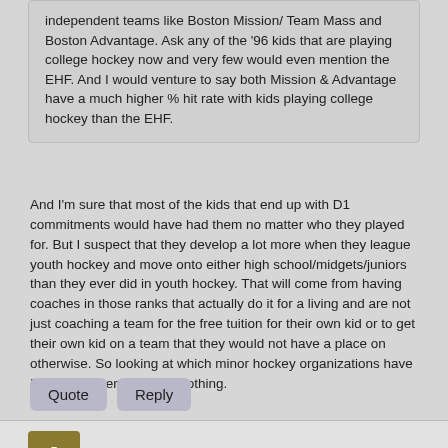independent teams like Boston Mission/ Team Mass and Boston Advantage. Ask any of the '96 kids that are playing college hockey now and very few would even mention the EHF. And I would venture to say both Mission & Advantage have a much higher % hit rate with kids playing college hockey than the EHF.
And I'm sure that most of the kids that end up with D1 commitments would have had them no matter who they played for. But I suspect that they develop a lot more when they league youth hockey and move onto either high school/midgets/juniors than they ever did in youth hockey. That will come from having coaches in those ranks that actually do it for a living and are not just coaching a team for the free tuition for their own kid or to get their own kid on a team that they would not have a place on otherwise. So looking at which minor hockey organizations have D1 commitments means nothing.
Quote
Reply
Anon